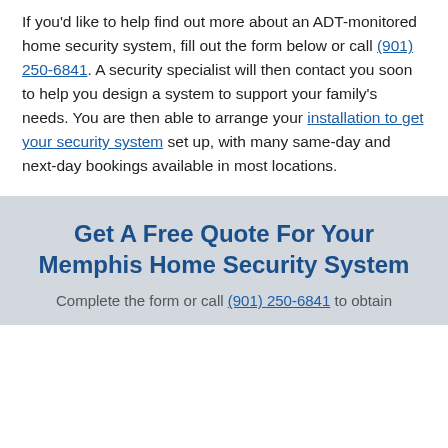If you'd like to help find out more about an ADT-monitored home security system, fill out the form below or call (901) 250-6841. A security specialist will then contact you soon to help you design a system to support your family's needs. You are then able to arrange your installation to get your security system set up, with many same-day and next-day bookings available in most locations.
Get A Free Quote For Your Memphis Home Security System
Complete the form or call (901) 250-6841 to obtain